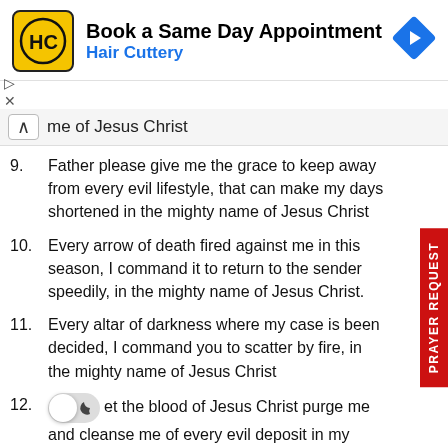[Figure (screenshot): Hair Cuttery ad banner: logo with HC letters in yellow square, text 'Book a Same Day Appointment' and 'Hair Cuttery' in blue, blue diamond arrow icon on right]
me of Jesus Christ
9. Father please give me the grace to keep away from every evil lifestyle, that can make my days shortened in the mighty name of Jesus Christ
10. Every arrow of death fired against me in this season, I command it to return to the sender speedily, in the mighty name of Jesus Christ.
11. Every altar of darkness where my case is been decided, I command you to scatter by fire, in the mighty name of Jesus Christ
12. [toggle] et the blood of Jesus Christ purge me and cleanse me of every evil deposit in my body, in the mighty name of